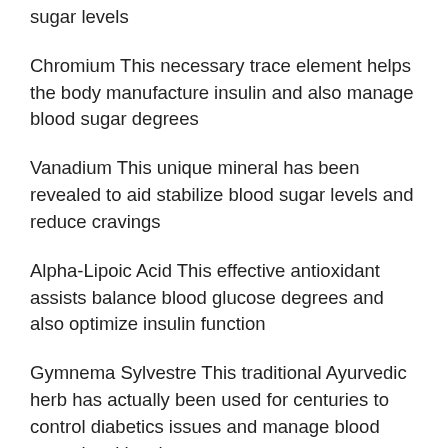sugar levels
Chromium This necessary trace element helps the body manufacture insulin and also manage blood sugar degrees
Vanadium This unique mineral has been revealed to aid stabilize blood sugar levels and reduce cravings
Alpha-Lipoic Acid This effective antioxidant assists balance blood glucose degrees and also optimize insulin function
Gymnema Sylvestre This traditional Ayurvedic herb has actually been used for centuries to control diabetics issues and manage blood sugar level levels